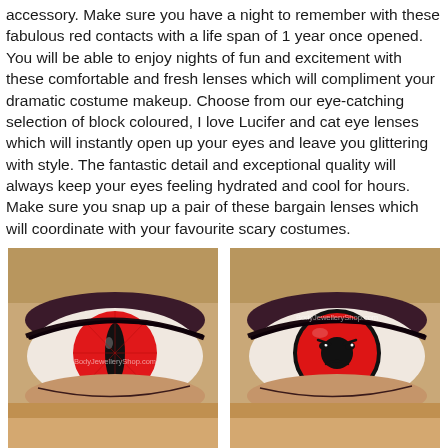accessory. Make sure you have a night to remember with these fabulous red contacts with a life span of 1 year once opened. You will be able to enjoy nights of fun and excitement with these comfortable and fresh lenses which will compliment your dramatic costume makeup. Choose from our eye-catching selection of block coloured, I love Lucifer and cat eye lenses which will instantly open up your eyes and leave you glittering with style. The fantastic detail and exceptional quality will always keep your eyes feeling hydrated and cool for hours. Make sure you snap up a pair of these bargain lenses which will coordinate with your favourite scary costumes.
[Figure (photo): Close-up photo of a human eye wearing a solid red costume contact lens with a black slit pupil. Dramatic makeup with dark eye shadow visible. Watermark: BodyJewelleryShop.com]
[Figure (photo): Close-up photo of a human eye wearing a red contact lens with a black decorative pattern resembling a cartoon angry face or Sharingan design. Dramatic makeup with dark eye shadow visible. Watermark: BodyJewelleryShop.com]